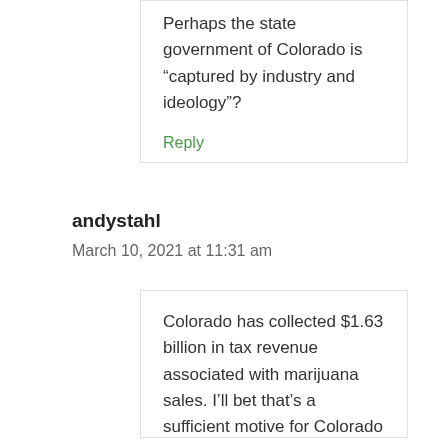Perhaps the state government of Colorado is “captured by industry and ideology”?
Reply
andystahl
March 10, 2021 at 11:31 am
Colorado has collected $1.63 billion in tax revenue associated with marijuana sales. I’ll bet that’s a sufficient motive for Colorado state government to promote the pot industry.